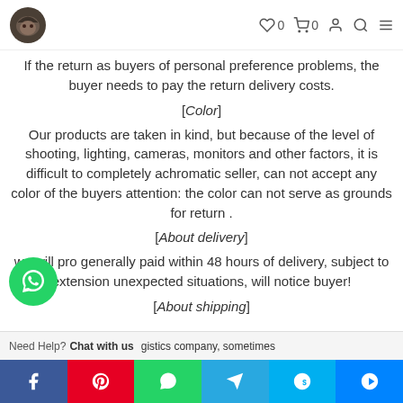Logo and navigation icons: heart 0, cart 0, account, search, menu
If the return as buyers of personal preference problems, the buyer needs to pay the return delivery costs.
[Color]
Our products are taken in kind, but because of the level of shooting, lighting, cameras, monitors and other factors, it is difficult to completely achromatic seller, can not accept any color of the buyers attention: the color can not serve as grounds for return .
[About delivery]
we will pro generally paid within 48 hours of delivery, subject to extension unexpected situations, will notice buyer!
[About shipping]
gistics company, sometimes
[Figure (other): WhatsApp floating action button (green circle with phone icon)]
Need Help? Chat with us
[Figure (other): Social share bar with Facebook, Pinterest, WhatsApp, Telegram, Skype, Messenger buttons]